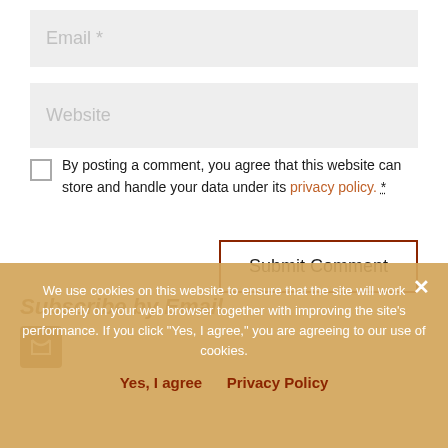[Figure (screenshot): Email input field with placeholder text 'Email *' on light gray background]
[Figure (screenshot): Website input field with placeholder text 'Website' on light gray background]
By posting a comment, you agree that this website can store and handle your data under its privacy policy. *
[Figure (screenshot): Submit Comment button with dark red border]
Subscribe by Email
We use cookies on this website to ensure that the site will work properly on your web browser together with improving the site's performance. If you click "Yes, I agree," you are agreeing to our use of cookies.
Yes, I agree   Privacy Policy